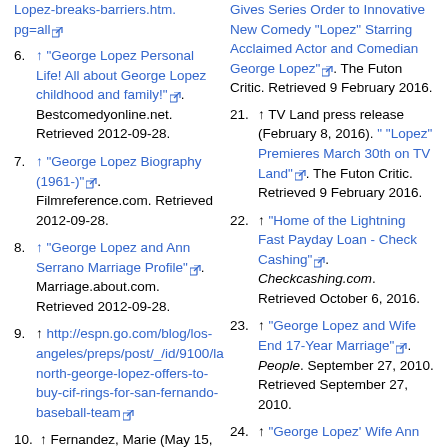Lopez-breaks-barriers.htm. pg=all
6. ↑ "George Lopez Personal Life! All about George Lopez childhood and family!". Bestcomedyonline.net. Retrieved 2012-09-28.
7. ↑ "George Lopez Biography (1961-)". Filmreference.com. Retrieved 2012-09-28.
8. ↑ "George Lopez and Ann Serrano Marriage Profile". Marriage.about.com. Retrieved 2012-09-28.
9. ↑ http://espn.go.com/blog/los-angeles/preps/post/_/id/9100/la-north-george-lopez-offers-to-buy-cif-rings-for-san-fernando-baseball-team
10. ↑ Fernandez, Marie (May 15, 2007). "George Lopez
Gives Series Order to Innovative New Comedy "Lopez" Starring Acclaimed Actor and Comedian George Lopez". The Futon Critic. Retrieved 9 February 2016.
21. ↑ TV Land press release (February 8, 2016). " "Lopez" Premieres March 30th on TV Land". The Futon Critic. Retrieved 9 February 2016.
22. ↑ "Home of the Lightning Fast Payday Loan - Check Cashing". Checkcashing.com. Retrieved October 6, 2016.
23. ↑ "George Lopez and Wife End 17-Year Marriage". People. September 27, 2010. Retrieved September 27, 2010.
24. ↑ "George Lopez' Wife Ann